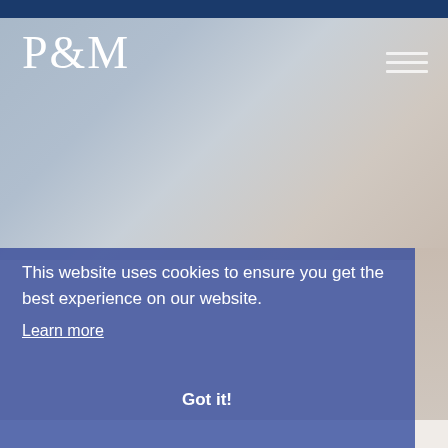[Figure (screenshot): Website screenshot showing P&M law firm homepage with a blue-grey gradient background photo. Top dark blue navigation bar. P&M logo in serif white text top left. Hamburger menu icon top right.]
This website uses cookies to ensure you get the best experience on our website. Learn more
Got it!